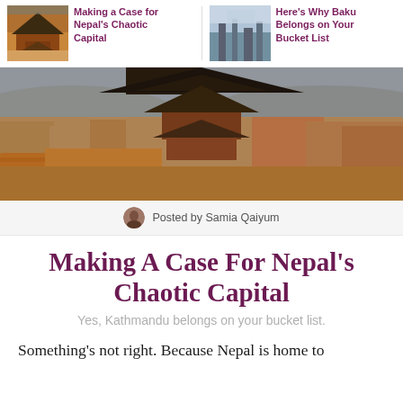Making a Case for Nepal's Chaotic Capital | Here's Why Baku Belongs on Your Bucket List
[Figure (photo): Aerial view of Kathmandu rooftops with traditional pagoda temple and city skyline in background]
Posted by Samia Qaiyum
Making A Case For Nepal's Chaotic Capital
Yes, Kathmandu belongs on your bucket list.
Something's not right. Because Nepal is home to